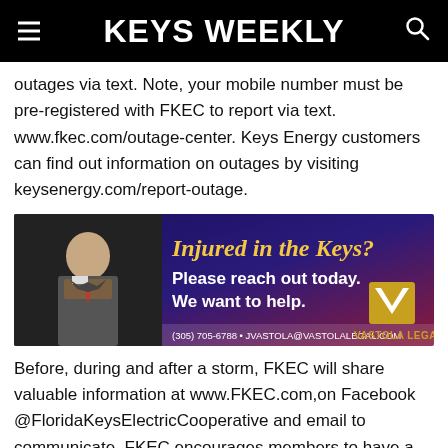KEYS WEEKLY
outages via text. Note, your mobile number must be pre-registered with FKEC to report via text. www.fkec.com/outage-center. Keys Energy customers can find out information on outages by visiting keysenergy.com/report-outage.
[Figure (photo): Advertisement for Vastola Legal: 'Injured in the Keys? Please reach out today. We want to help.' with photo of attorney, contact info (305) 705-6788, JVASTOLA@VASTOLALEGAL.COM, and Vastola Legal logo.]
Before, during and after a storm, FKEC will share valuable information at www.FKEC.com,on Facebook @FloridaKeysElectricCooperative and email to communicate. FKEC encourages members to have a